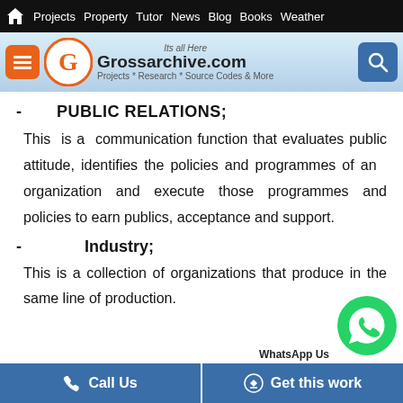Projects  Property  Tutor  News  Blog  Books  Weather
[Figure (screenshot): Grossarchive.com website header banner with logo, menu button, and search button. Tagline: Its all Here. Projects * Research * Source Codes & More]
- PUBLIC RELATIONS;
This is a communication function that evaluates public attitude, identifies the policies and programmes of an organization and execute those programmes and policies to earn publics, acceptance and support.
- Industry;
This is a collection of organizations that produce in the same line of production.
Call Us   Get this work   WhatsApp Us